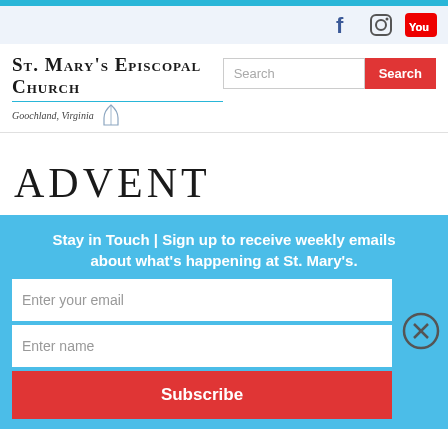[Figure (screenshot): Website screenshot of St. Mary's Episcopal Church, Goochland Virginia. Contains top navigation bar with social icons (Facebook, Instagram, YouTube), church logo/name, search bar, Advent heading, and a newsletter signup widget with email/name fields and Subscribe button.]
St. Mary's Episcopal Church — Goochland, Virginia
ADVENT
Stay in Touch | Sign up to receive weekly emails about what's happening at St. Mary's.